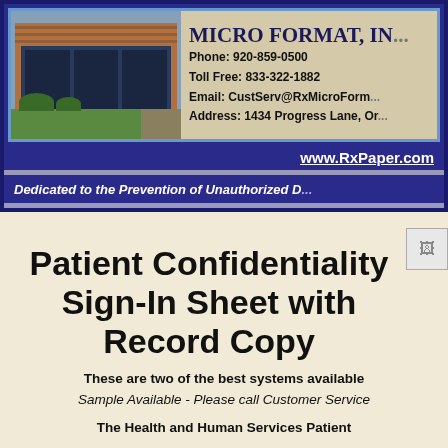[Figure (photo): Building photo of Micro Format Inc. office exterior - brick building with large windows]
MICRO FORMAT, IN... | Phone: 920-859-0500 | Toll Free: 833-322-1882 | Email: CustServ@RxMicroForm... | Address: 1434 Progress Lane, Or...
www.RxPaper.com
Dedicated to the Prevention of Unauthorized D...
Patient Confidentiality Sign-In Sheet with Record Copy
These are two of the best systems available
Sample Available - Please call Customer Service
The Health and Human Services Patient